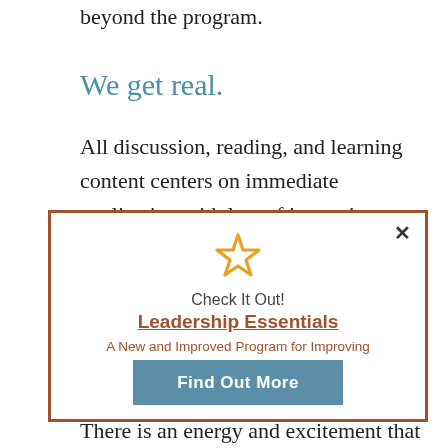beyond the program.
We get real.
All discussion, reading, and learning content centers on immediate application with lots of in-session
[Figure (infographic): A popup/modal box with a brown border containing a gold star icon, text 'Check It Out! Leadership Essentials — A New and Improved Program for Improving New (and Experienced) Leaders.' and a teal 'Find Out More' button. Has an X close button in top-right corner.]
There is an energy and excitement that